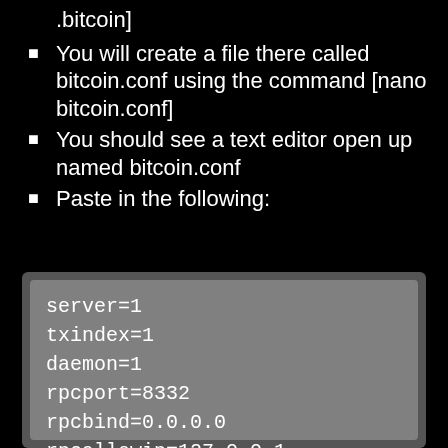.bitcoin]
You will create a file there called bitcoin.conf using the command [nano bitcoin.conf]
You should see a text editor open up named bitcoin.conf
Paste in the following:
server=1
txindex=1
daemon=1
rpcport=8332
rpcbind=0.0.0.0
rpcallowip=127.0.0.1
rpcallowip=10.0.0.0/8